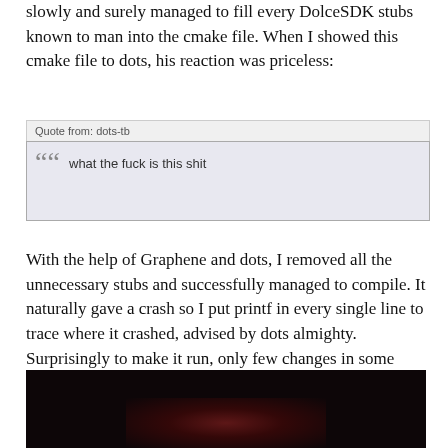slowly and surely managed to fill every DolceSDK stubs known to man into the cmake file. When I showed this cmake file to dots, his reaction was priceless:
Quote from: dots-tb
what the fuck is this shit
With the help of Graphene and dots, I removed all the unnecessary stubs and successfully managed to compile. It naturally gave a crash so I put printf in every single line to trace where it crashed, advised by dots almighty. Surprisingly to make it run, only few changes in some functions was all that was needed to make it not crash. All the scenes except the 2nd one and the 7th one was rendering correctly. Now this is where the real fun began.
[Figure (photo): Dark image, mostly black with a reddish-brown glow/light visible in the lower center area, appearing to show a dimly lit scene.]